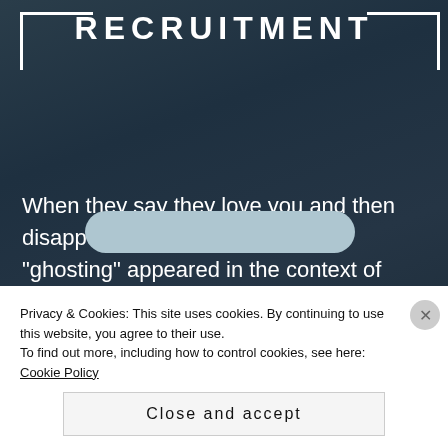RECRUITMENT
When they say they love you and then disappear Until recently the term “ghostingm” appeared in the context of male-female relations, specifically in a situation in which……
Privacy & Cookies: This site uses cookies. By continuing to use this website, you agree to their use.
To find out more, including how to control cookies, see here: Cookie Policy
Close and accept